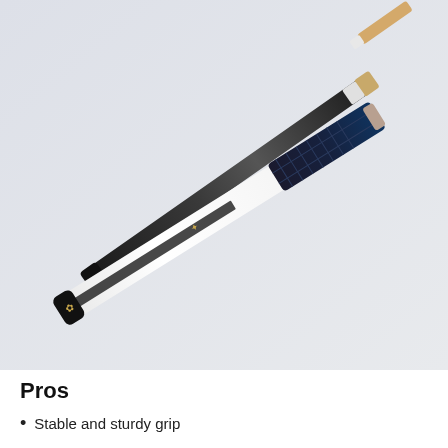[Figure (photo): Two billiard/pool cue sticks displayed diagonally. One cue is predominantly black (foreground/top), and another is white with black accents including a honeycomb-pattern grip section. A gold logo (four-leaf clover style) is visible on the butt cap. The tip/ferrule end is visible at the top right.]
Pros
Stable and sturdy grip